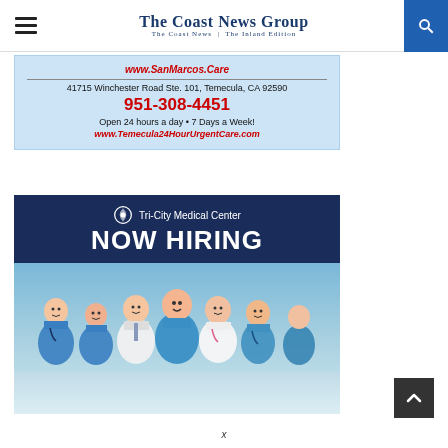The Coast News Group | The Coast News | The Inland Edition
[Figure (infographic): Temecula 24 Hour Urgent Care advertisement with address, phone number, and website on light blue background]
[Figure (infographic): Tri-City Medical Center NOW HIRING advertisement with dark navy header and photo of smiling medical staff in scrubs and white coats]